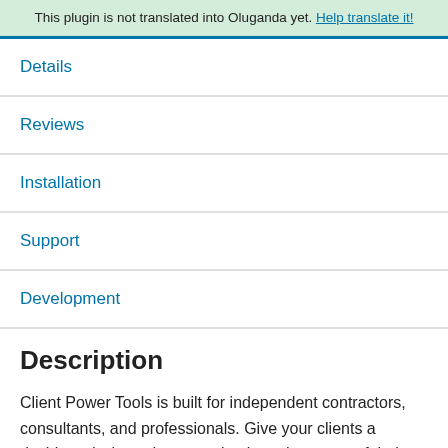This plugin is not translated into Oluganda yet. Help translate it!
Details
Reviews
Installation
Support
Development
Description
Client Power Tools is built for independent contractors, consultants, and professionals. Give your clients a dashboard where they can check on the status of their project, access information and resources in your clients-only knowledge base, and